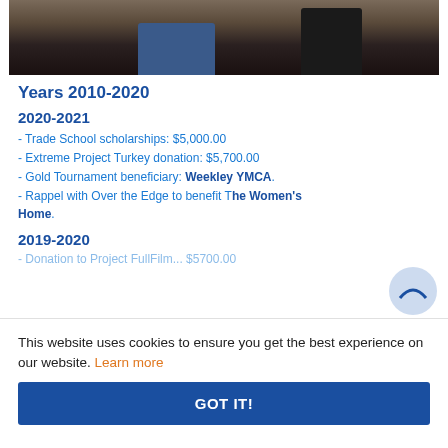[Figure (photo): Cropped photo showing lower bodies/legs of people standing outdoors on grass/mulch]
Years 2010-2020
2020-2021
- Trade School scholarships: $5,000.00
- Extreme Project Turkey donation: $5,700.00
- Gold Tournament beneficiary: Weekley YMCA.
- Rappel with Over the Edge to benefit The Women's Home.
2019-2020
This website uses cookies to ensure you get the best experience on our website. Learn more
GOT IT!